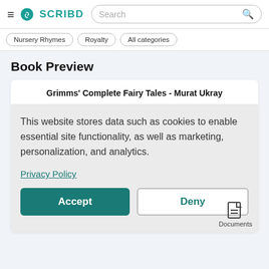≡  S  SCRIBD  [Search]
Nursery Rhymes   Royalty   All categories
Book Preview
Grimms' Complete Fairy Tales - Murat Ukray
This website stores data such as cookies to enable essential site functionality, as well as marketing, personalization, and analytics.
Privacy Policy
Accept   Deny
Documents